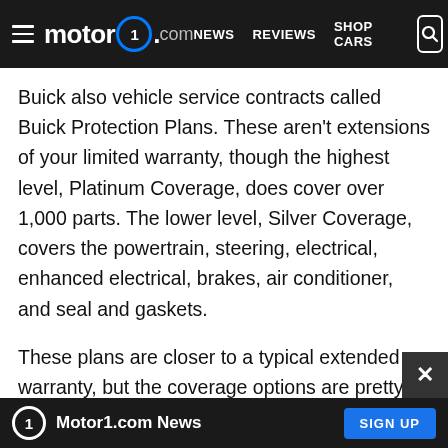motor1.com | NEWS | REVIEWS | SHOP CARS
Buick also vehicle service contracts called Buick Protection Plans. These aren't extensions of your limited warranty, though the highest level, Platinum Coverage, does cover over 1,000 parts. The lower level, Silver Coverage, covers the powertrain, steering, electrical, enhanced electrical, brakes, air conditioner, and seal and gaskets.
These plans are closer to a typical extended warranty, but the coverage options are pretty limited. You can only be covered up to 60 months/60,000 miles. Buick starts its extended warranty prices at $1,319 for 24 months/24,000 miles of coverage.
Motor1.com News | SIGN UP